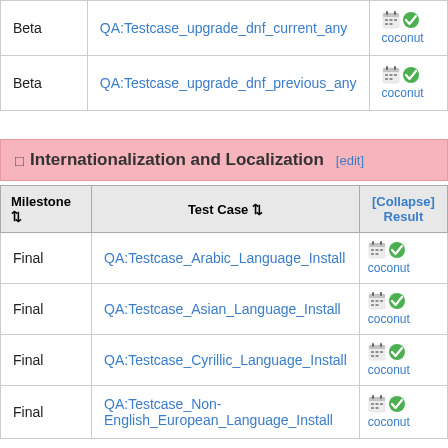| Milestone | Test Case | Result |
| --- | --- | --- |
| Beta | QA:Testcase_upgrade_dnf_current_any | 🗓✅ coconut |
| Beta | QA:Testcase_upgrade_dnf_previous_any | 🗓✅ coconut |
Internationalization and Localization [edit]
| Milestone | Test Case | [Collapse] Result |
| --- | --- | --- |
| Final | QA:Testcase_Arabic_Language_Install | 🗓✅ coconut |
| Final | QA:Testcase_Asian_Language_Install | 🗓✅ coconut |
| Final | QA:Testcase_Cyrillic_Language_Install | 🗓✅ coconut |
| Final | QA:Testcase_Non-English_European_Language_Install | 🗓✅ coconut |